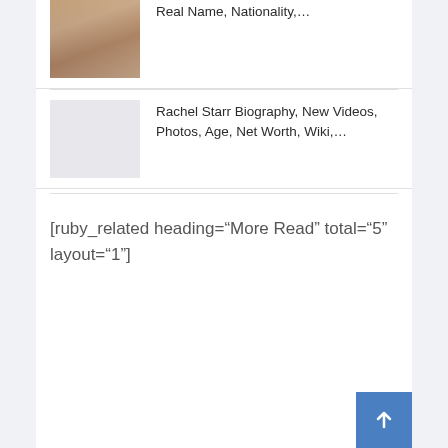Real Name, Nationality,...
Rachel Starr Biography, New Videos, Photos, Age, Net Worth, Wiki,...
[ruby_related heading="More Read" total="5" layout="1"]